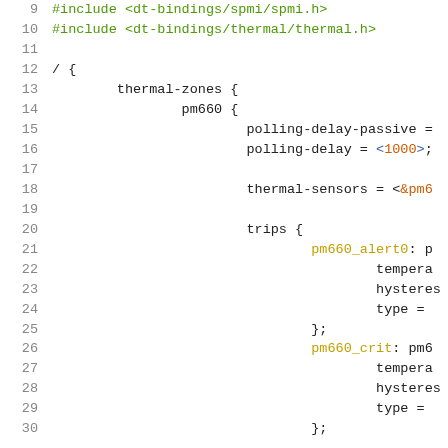Code snippet showing device tree source with thermal zones configuration, lines 9-30
#include <dt-bindings/spmi/spmi.h>
#include <dt-bindings/thermal/thermal.h>
/ { thermal-zones { pm660 { polling-delay-passive = ... polling-delay = <1000>; thermal-sensors = <&pm6... trips { pm660_alert0: p... temperature hysteres type }; pm660_crit: pm6... temperature hysteres type }; } } }